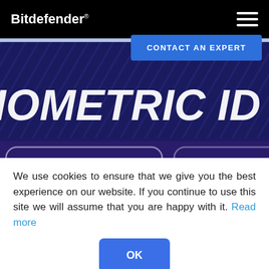Bitdefender
[Figure (screenshot): Bitdefender website screenshot showing navigation bar with logo and hamburger menu, a 'CONTACT AN EXPERT' blue button, a partial hero image with text 'IOMETRIC ID SEARCH' in large white letters over a dark blue background with card-like elements]
We use cookies to ensure that we give you the best experience on our website. If you continue to use this site we will assume that you are happy with it. Read more
OK